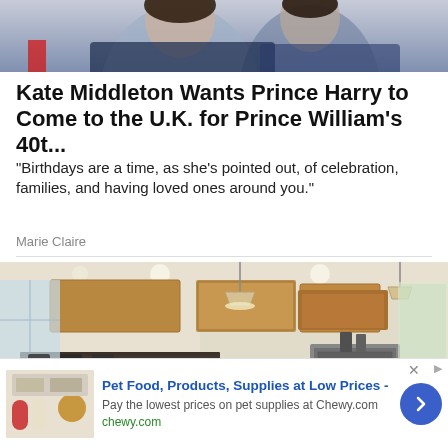[Figure (photo): Photo of people, cropped showing upper portion with dark-haired individuals]
Kate Middleton Wants Prince Harry to Come to the U.K. for Prince William's 40t...
“Birthdays are a time, as she’s pointed out, of celebration, families, and having loved ones around you.”
Marie Claire
[Figure (photo): Photo of a modern kitchen with wooden cabinets, granite countertop island, pendant lights, and stainless steel appliances]
Pet Food, Products, Supplies at Low Prices -
Pay the lowest prices on pet supplies at Chewy.com
chewy.com